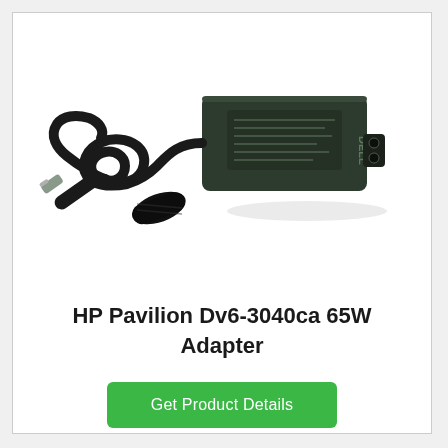[Figure (photo): A laptop power adapter (charger brick) with a coiled black cable and cylindrical DC barrel plug tip, branded Dell, photographed on a white background.]
HP Pavilion Dv6-3040ca 65W Adapter
Get Product Details